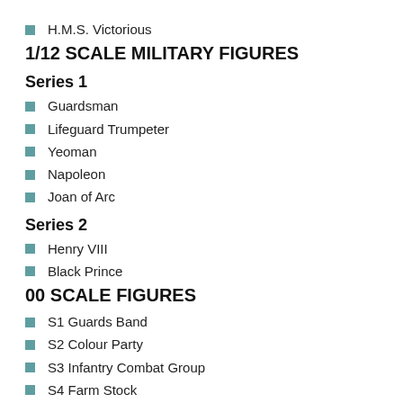H.M.S. Victorious
1/12 SCALE MILITARY FIGURES
Series 1
Guardsman
Lifeguard Trumpeter
Yeoman
Napoleon
Joan of Arc
Series 2
Henry VIII
Black Prince
00 SCALE FIGURES
S1 Guards Band
S2 Colour Party
S3 Infantry Combat Group
S4 Farm Stock
CARS
1911 Rolls Royce
1904 Darracq